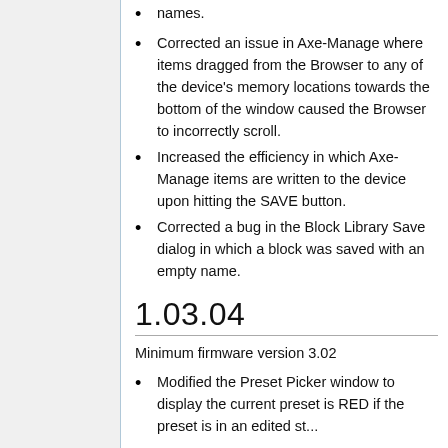names.
Corrected an issue in Axe-Manage where items dragged from the Browser to any of the device's memory locations towards the bottom of the window caused the Browser to incorrectly scroll.
Increased the efficiency in which Axe-Manage items are written to the device upon hitting the SAVE button.
Corrected a bug in the Block Library Save dialog in which a block was saved with an empty name.
1.03.04
Minimum firmware version 3.02
Modified the Preset Picker window to display the current preset is RED if the preset is in an edited state...